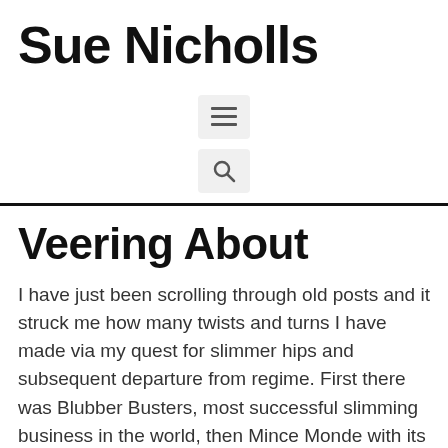Sue Nicholls
[Figure (infographic): Hamburger menu icon — three horizontal lines in a light grey rounded box]
[Figure (infographic): Search (magnifying glass) icon in a light grey rounded box]
Veering About
I have just been scrolling through old posts and it struck me how many twists and turns I have made via my quest for slimmer hips and subsequent departure from regime. First there was Blubber Busters, most successful slimming business in the world, then Mince Monde with its red days and green days. Recipe posts abound involving the extraction of flavour normally provided by fat and the attempt to replace it with spices, salt or artificial sweetener